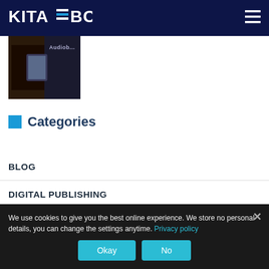KITABOO
[Figure (photo): Thumbnail image showing a person using a tablet, partially visible with 'Audiob...' text overlay in dark background]
Categories
BLOG
DIGITAL PUBLISHING
EBOOK SOLUTION
ECOMMERCE
We use cookies to give you the best online experience. We store no personal details, you can change the settings anytime. Privacy policy